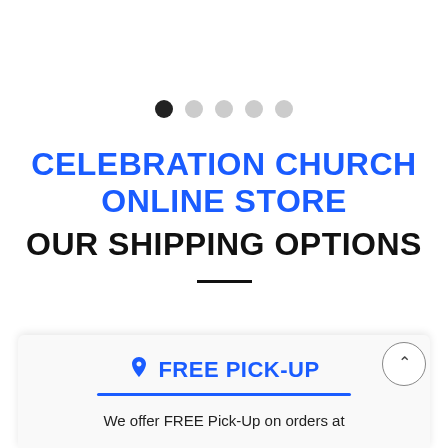[Figure (other): Carousel/slider pagination dots — one filled dark dot followed by four light grey dots]
CELEBRATION CHURCH ONLINE STORE
OUR SHIPPING OPTIONS
FREE PICK-UP
We offer FREE Pick-Up on orders at